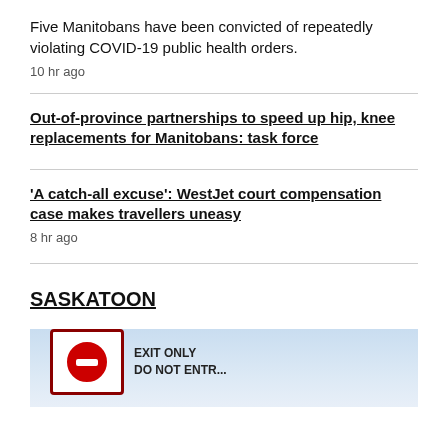Five Manitobans have been convicted of repeatedly violating COVID-19 public health orders.
10 hr ago
Out-of-province partnerships to speed up hip, knee replacements for Manitobans: task force
'A catch-all excuse': WestJet court compensation case makes travellers uneasy
8 hr ago
SASKATOON
[Figure (photo): Photo of an exit-only do not enter road sign against a blue sky background]